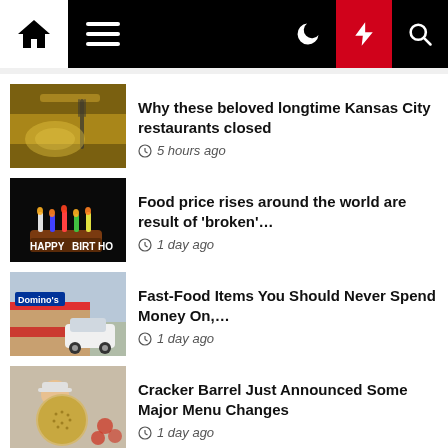Navigation bar with home, menu, moon, lightning, and search icons
Why these beloved longtime Kansas City restaurants closed — 5 hours ago
Food price rises around the world are result of 'broken'… — 1 day ago
Fast-Food Items You Should Never Spend Money On,… — 1 day ago
Cracker Barrel Just Announced Some Major Menu Changes — 1 day ago
The 35 BEST Healthy…